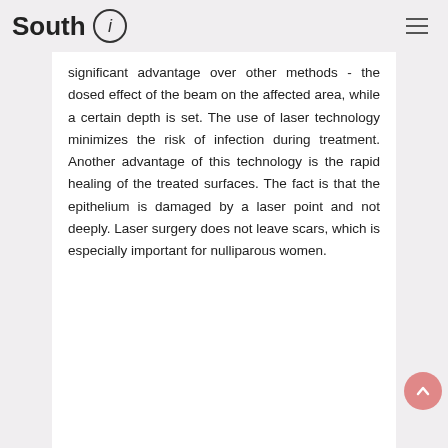South i
significant advantage over other methods - the dosed effect of the beam on the affected area, while a certain depth is set. The use of laser technology minimizes the risk of infection during treatment. Another advantage of this technology is the rapid healing of the treated surfaces. The fact is that the epithelium is damaged by a laser point and not deeply. Laser surgery does not leave scars, which is especially important for nulliparous women.